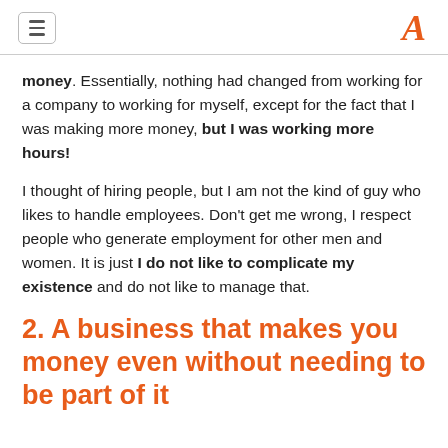≡ [hamburger menu] [logo A]
money. Essentially, nothing had changed from working for a company to working for myself, except for the fact that I was making more money, but I was working more hours!
I thought of hiring people, but I am not the kind of guy who likes to handle employees. Don't get me wrong, I respect people who generate employment for other men and women. It is just I do not like to complicate my existence and do not like to manage that.
2. A business that makes you money even without needing to be part of it